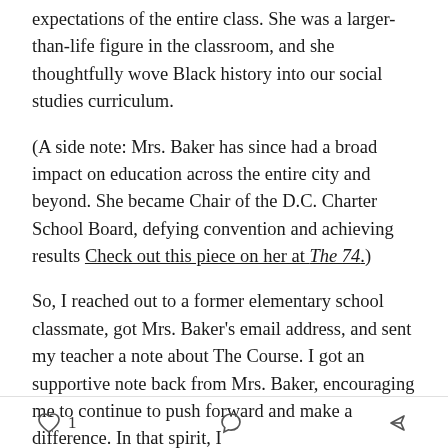expectations of the entire class. She was a larger-than-life figure in the classroom, and she thoughtfully wove Black history into our social studies curriculum.
(A side note: Mrs. Baker has since had a broad impact on education across the entire city and beyond. She became Chair of the D.C. Charter School Board, defying convention and achieving results Check out this piece on her at The 74.)
So, I reached out to a former elementary school classmate, got Mrs. Baker's email address, and sent my teacher a note about The Course. I got an supportive note back from Mrs. Baker, encouraging me to continue to push forward and make a difference. In that spirit, I
1